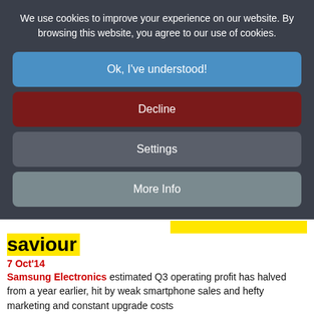We use cookies to improve your experience on our website. By browsing this website, you agree to our use of cookies.
Ok, I've understood!
Decline
Settings
More Info
saviour
7 Oct'14
Samsung Electronics estimated Q3 operating profit has halved from a year earlier, hit by weak smartphone sales and hefty marketing and constant upgrade costs
Like 0  Tweet  Share
Top 30 Worse Office Marks...